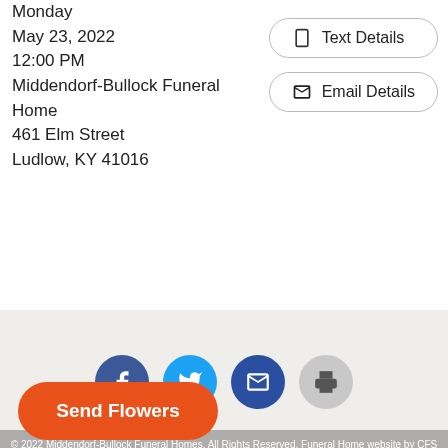Monday
May 23, 2022
12:00 PM
Middendorf-Bullock Funeral Home
461 Elm Street
Ludlow, KY 41016
Text Details
Email Details
[Figure (infographic): Four social sharing icons in circles: Facebook (dark blue), Twitter (light blue), Email/envelope (dark blue), Print (gray)]
© 2022 Middendorf-Bullock Funeral Homes. All Rights Reserved. Funeral Home website by CFS & TA | Terms of Use | Privacy Policy | Accessibility
Send Flowers